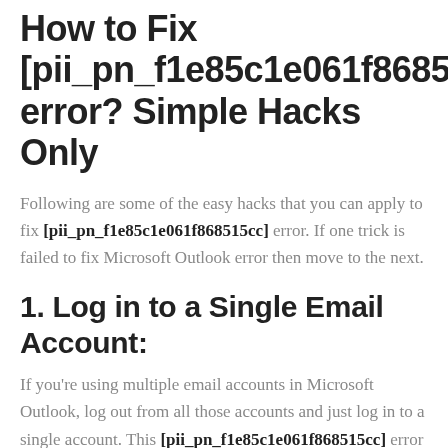How to Fix [pii_pn_f1e85c1e061f868515 error? Simple Hacks Only
Following are some of the easy hacks that you can apply to fix [pii_pn_f1e85c1e061f868515cc] error. If one trick is failed to fix Microsoft Outlook error then move to the next.
1. Log in to a Single Email Account:
If you're using multiple email accounts in Microsoft Outlook, log out from all those accounts and just log in to a single account. This [pii_pn_f1e85c1e061f868515cc] error will be resolved. Then you log in to the other